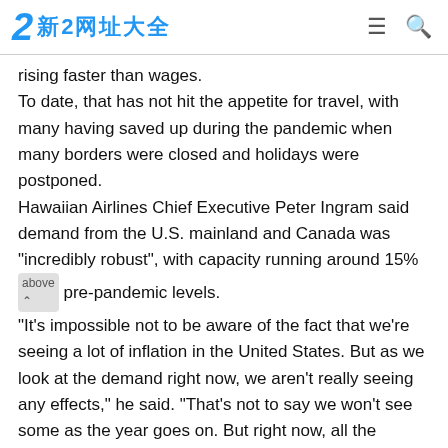2 新2网址大全
rising faster than wages.
To date, that has not hit the appetite for travel, with many having saved up during the pandemic when many borders were closed and holidays were postponed.
Hawaiian Airlines Chief Executive Peter Ingram said demand from the U.S. mainland and Canada was "incredibly robust", with capacity running around 15% above pre-pandemic levels.
"It's impossible not to be aware of the fact that we're seeing a lot of inflation in the United States. But as we look at the demand right now, we aren't really seeing any effects," he said. "That's not to say we won't see some as the year goes on. But right now, all the demand indicators are very strong."